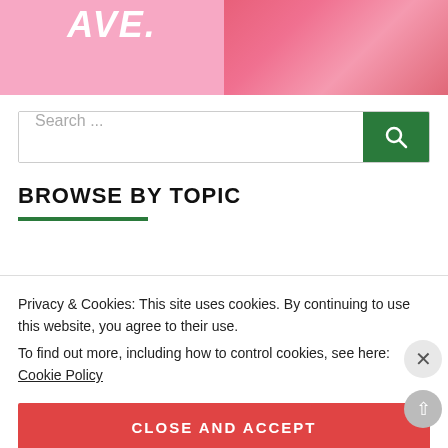[Figure (photo): Left panel: pink background with white bold italic text 'AVE.' partially visible at top. Right panel: photo of person in bright pink blazer/jacket.]
[Figure (screenshot): Search bar with placeholder text 'Search ...' and green search button with magnifying glass icon.]
BROWSE BY TOPIC
Privacy & Cookies: This site uses cookies. By continuing to use this website, you agree to their use.
To find out more, including how to control cookies, see here: Cookie Policy
CLOSE AND ACCEPT